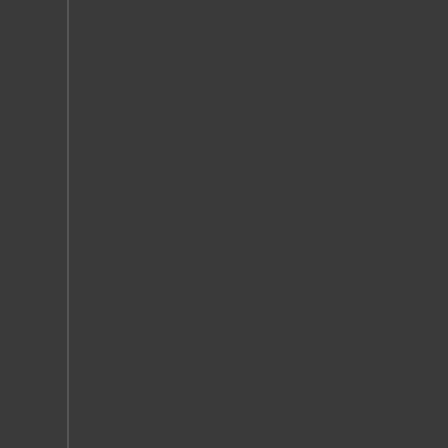What do you do if someone you care about wants to make the decision to quit? You often know about getting help but are too embarrassed or worried about getting in trouble. The good news is you are one of your friends. The best place to start and someone to listen is one of the first steps even though it might be hard getting started.
Generalization of National... Heflin, Louisiana in the ye...
Ages between 12 and 17
Any Illicit Drug
Marijuana / Hash
Cocaine
Crack/Cocaine
Heroin
LSD
PCP
Ecstasy/MDMA
Inhalants
Pain Medication
Tranquilizers
Stimulants
Methamphetamine
Sedatives
Ages between 18 and 25
Any Illicit Drug
Marijuana / Hash
Cocaine